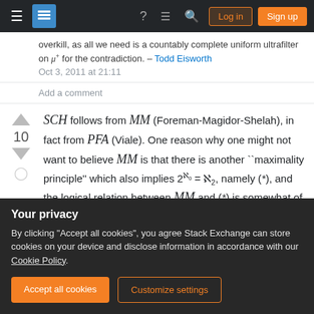[Figure (screenshot): Stack Exchange navigation bar with hamburger menu, logo, question mark icon, comments icon, search icon, Log in and Sign up buttons]
overkill, as all we need is a countably complete uniform ultrafilter on μ+ for the contradiction. – Todd Eisworth Oct 3, 2011 at 21:11
Add a comment
SCH follows from MM (Foreman-Magidor-Shelah), in fact from PFA (Viale). One reason why one might not want to believe MM is that there is another ``maximality principle'' which also implies 2^ℵ₀ = ℵ₂, namely (*), and the logical relation between MM and (*) is somewhat of a mystery.
Your privacy
By clicking "Accept all cookies", you agree Stack Exchange can store cookies on your device and disclose information in accordance with our Cookie Policy.
Accept all cookies
Customize settings